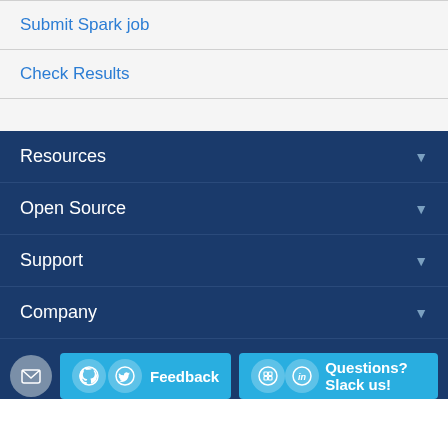Submit Spark job
Check Results
Resources
Open Source
Support
Company
Feedback   Questions? Slack us!